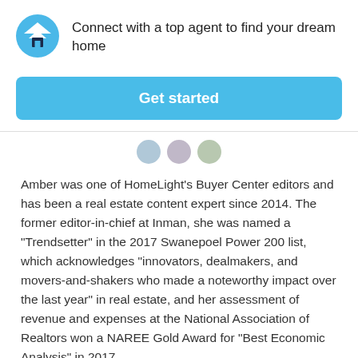[Figure (logo): HomeLight logo: blue circle with white chevron and dark house icon]
Connect with a top agent to find your dream home
[Figure (other): Get started button — blue rounded rectangle]
[Figure (other): Three small circular avatar icons in a row]
Amber was one of HomeLight’s Buyer Center editors and has been a real estate content expert since 2014. The former editor-in-chief at Inman, she was named a “Trendsetter” in the 2017 Swanepoel Power 200 list, which acknowledges “innovators, dealmakers, and movers-and-shakers who made a noteworthy impact over the last year” in real estate, and her assessment of revenue and expenses at the National Association of Realtors won a NAREE Gold Award for “Best Economic Analysis” in 2017.
[Figure (other): Share label and circular avatar icons at bottom]